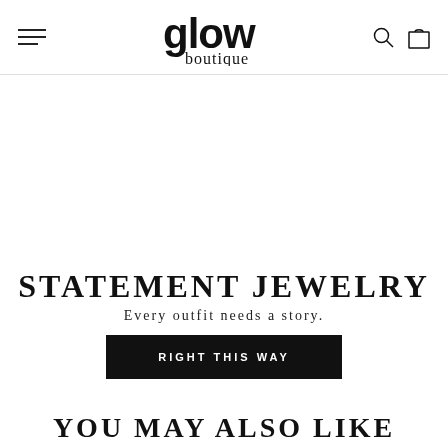[Figure (logo): Glow Boutique logo with hamburger menu, search icon and shopping bag icon in header navigation bar]
STATEMENT JEWELRY
Every outfit needs a story.
RIGHT THIS WAY
YOU MAY ALSO LIKE